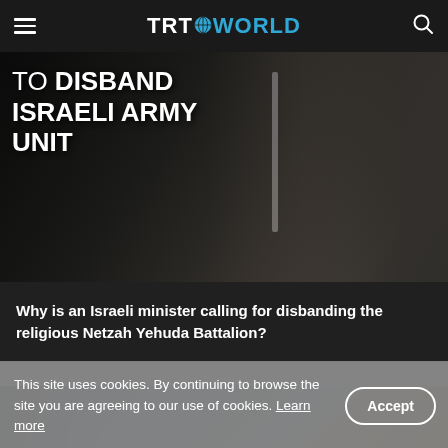TRT WORLD
[Figure (photo): Dark background news image showing silhouettes of figures, with overlay text reading 'TO DISBAND ISRAELI ARMY UNIT']
Why is an Israeli minister calling for disbanding the religious Netzah Yehuda Battalion?
[Figure (photo): Partial view of a second news story image showing colorful scene with blue sky and a person in traditional attire]
This site uses cookies. By continuing to browse the site you are agreeing to our use of cookies. Learn more